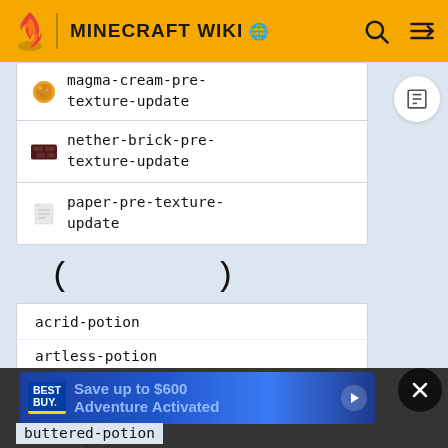MINECRAFT WIKI
magma-cream-pre-texture-update
nether-brick-pre-texture-update
paper-pre-texture-update
( )
acrid-potion
artless-potion
awkward-potion-pre-texture-update
bland-potion
buttered-potion